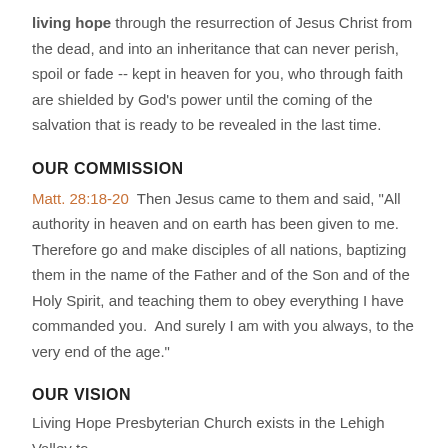living hope through the resurrection of Jesus Christ from the dead, and into an inheritance that can never perish, spoil or fade -- kept in heaven for you, who through faith are shielded by God's power until the coming of the salvation that is ready to be revealed in the last time.
OUR COMMISSION
Matt. 28:18-20  Then Jesus came to them and said, "All authority in heaven and on earth has been given to me.  Therefore go and make disciples of all nations, baptizing them in the name of the Father and of the Son and of the Holy Spirit, and teaching them to obey everything I have commanded you.  And surely I am with you always, to the very end of the age."
OUR VISION
Living Hope Presbyterian Church exists in the Lehigh Valley to